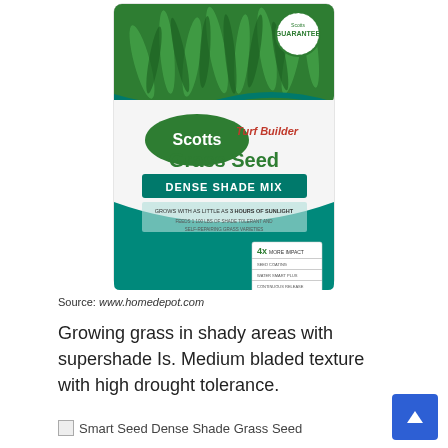[Figure (photo): Scotts Turf Builder Grass Seed Dense Shade Mix product bag with green grass on the front and a Scotts Guarantee seal]
Source: www.homedepot.com
Growing grass in shady areas with supershade Is. Medium bladed texture with high drought tolerance.
Smart Seed Dense Shade Grass Seed